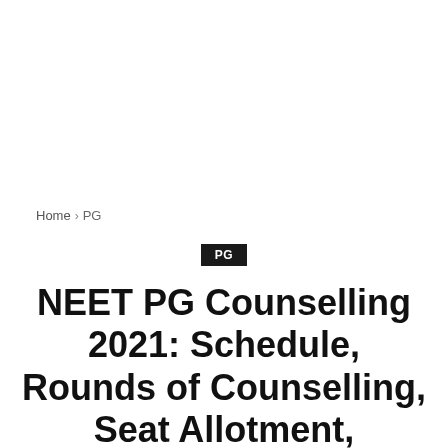Home › PG
PG
NEET PG Counselling 2021: Schedule, Rounds of Counselling, Seat Allotment, Document Verification